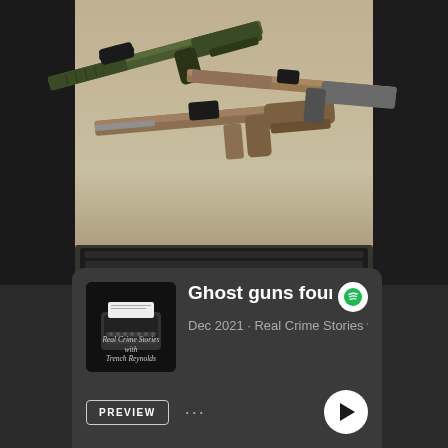[Figure (photo): Photo of multiple semi-automatic rifles laid out on a table, olive/tan colored, with scopes and accessories. Background is dark/blurred on left and right sides.]
[Figure (screenshot): Spotify podcast card showing episode 'Ghost guns found in...' from Dec 2021, Real Crime Stories with Trench Reynolds. Shows podcast thumbnail with typewriter image, Spotify logo, PREVIEW button, ellipsis menu, and play button.]
Ghost guns found in...
Dec 2021 · Real Crime Stories wit...
PREVIEW